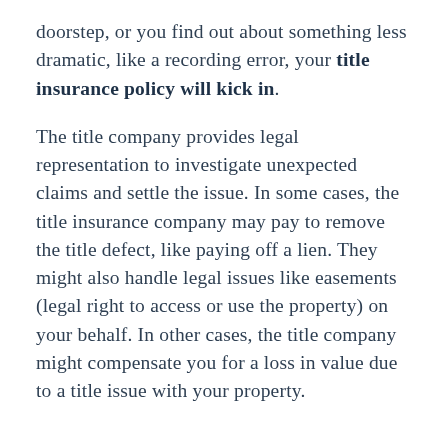doorstep, or you find out about something less dramatic, like a recording error, your title insurance policy will kick in. The title company provides legal representation to investigate unexpected claims and settle the issue. In some cases, the title insurance company may pay to remove the title defect, like paying off a lien. They might also handle legal issues like easements (legal right to access or use the property) on your behalf. In other cases, the title company might compensate you for a loss in value due to a title issue with your property.